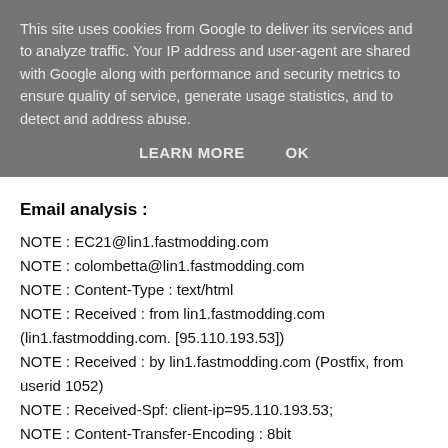This site uses cookies from Google to deliver its services and to analyze traffic. Your IP address and user-agent are shared with Google along with performance and security metrics to ensure quality of service, generate usage statistics, and to detect and address abuse.
LEARN MORE   OK
Email analysis :
NOTE : EC21@lin1.fastmodding.com
NOTE : colombetta@lin1.fastmodding.com
NOTE : Content-Type : text/html
NOTE : Received : from lin1.fastmodding.com (lin1.fastmodding.com. [95.110.193.53])
NOTE : Received : by lin1.fastmodding.com (Postfix, from userid 1052)
NOTE : Received-Spf: client-ip=95.110.193.53;
NOTE : Content-Transfer-Encoding : 8bit
NOTE : Message-Id : < *.*@lin1.fastmodding.com >
NOTE : Inquiry